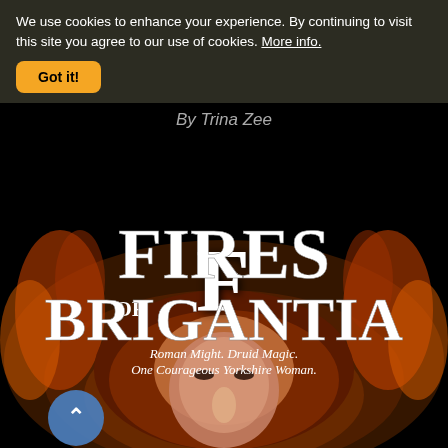We use cookies to enhance your experience. By continuing to visit this site you agree to our use of cookies. More info.
[Figure (illustration): Book cover for 'Fires of Brigantia' showing large stylized white title text on black background with subtitle 'Roman Might. Druid Magic. One Courageous Yorkshire Woman.' and a close-up image of a woman's face with red/auburn hair surrounded by fiery effects.]